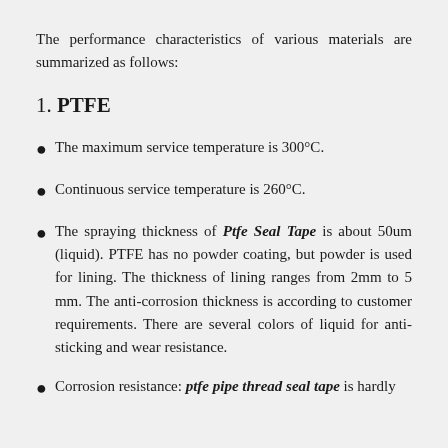The performance characteristics of various materials are summarized as follows:
1. PTFE
The maximum service temperature is 300°C.
Continuous service temperature is 260°C.
The spraying thickness of Ptfe Seal Tape is about 50um (liquid). PTFE has no powder coating, but powder is used for lining. The thickness of lining ranges from 2mm to 5 mm. The anti-corrosion thickness is according to customer requirements. There are several colors of liquid for anti-sticking and wear resistance.
Corrosion resistance: ptfe pipe thread seal tape is hardly